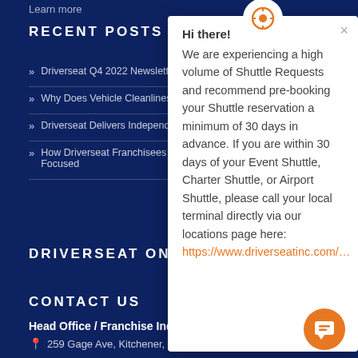Learn more
RECENT POSTS
Driverseat Q4 2022 Newslette…
Why Does Vehicle Cleanliness…
Driverseat Delivers Independe…
How Driverseat Franchisees U… Focused
DRIVERSEAT ON INST…
CONTACT US
Head Office / Franchise Inquiries
259 Gage Ave, Kitchener, ON N2M 2C8
[Figure (screenshot): Chat popup modal with location icon at top, close X button, greeting 'Hi there!' followed by message about high volume of Shuttle Requests recommending pre-booking 30 days in advance, and a link to driverseatinc.com locations page]
[Figure (other): Orange circular chat button with speech bubble icon in bottom right corner]